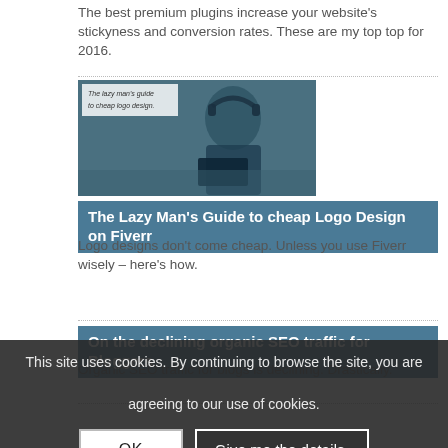The best premium plugins increase your website's stickyness and conversion rates. These are my top top for 2016.
[Figure (photo): Man in suit with headphones using a laptop outdoors, with text overlay 'The lazy man's guide to cheap logo design.' in upper left corner. Blue-tinted photo.]
The Lazy Man's Guide to cheap Logo Design on Fiverr
Logo designs don't come cheap. Unless you use Fiverr wisely – here's how.
On the declining organic SEO traffic for Bloggers
Organic SEO traffic for blogs is declining. Drastically.
This site uses cookies. By continuing to browse the site, you are agreeing to our use of cookies.